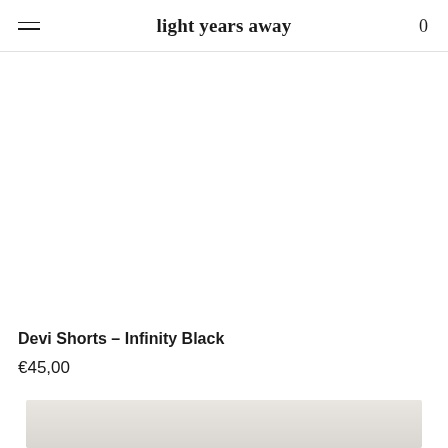light years away
[Figure (photo): Product photo area for Devi Shorts - Infinity Black, white background, mostly blank/white in this crop]
Devi Shorts – Infinity Black
€45,00
[Figure (photo): Partial product photo visible at bottom of page, light beige/grey background with a figure partially visible]